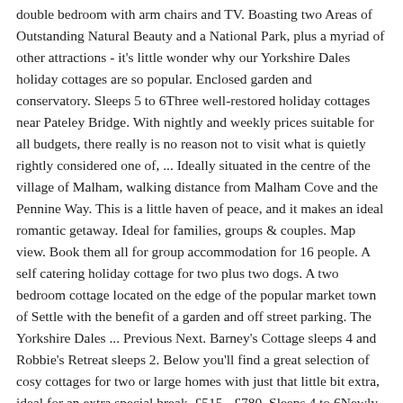double bedroom with arm chairs and TV. Boasting two Areas of Outstanding Natural Beauty and a National Park, plus a myriad of other attractions - it's little wonder why our Yorkshire Dales holiday cottages are so popular. Enclosed garden and conservatory. Sleeps 5 to 6Three well-restored holiday cottages near Pateley Bridge. With nightly and weekly prices suitable for all budgets, there really is no reason not to visit what is quietly rightly considered one of, ... Ideally situated in the centre of the village of Malham, walking distance from Malham Cove and the Pennine Way. This is a little haven of peace, and it makes an ideal romantic getaway. Ideal for families, groups & couples. Map view. Book them all for group accommodation for 16 people. A self catering holiday cottage for two plus two dogs. A two bedroom cottage located on the edge of the popular market town of Settle with the benefit of a garden and off street parking. The Yorkshire Dales ... Previous Next. Barney's Cottage sleeps 4 and Robbie's Retreat sleeps 2. Below you'll find a great selection of cosy cottages for two or large homes with just that little bit extra, ideal for an extra special break. £515 - £780. Sleeps 4 to 6Newly refurbished, this detached self-catering cottage is in a quiet location on the edge of Malham, yet within easy walking of pubs and cafés. Short breaks available. Pets welcome. Book your Yorkshire Dales National Park, GB holiday rentals online. Great for Yorkshire Dales couples holidays and for those visiting on